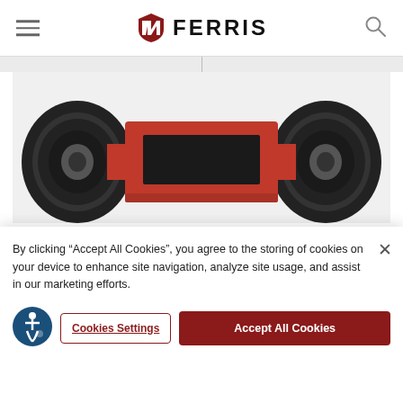FERRIS
[Figure (photo): Bottom view of a Ferris zero-turn mower showing two large black tires on either side of a red mower deck frame against a light gray background.]
Protection
Heavy-duty bumper protects the engine while also allowing for easy service access.
By clicking “Accept All Cookies”, you agree to the storing of cookies on your device to enhance site navigation, analyze site usage, and assist in our marketing efforts.